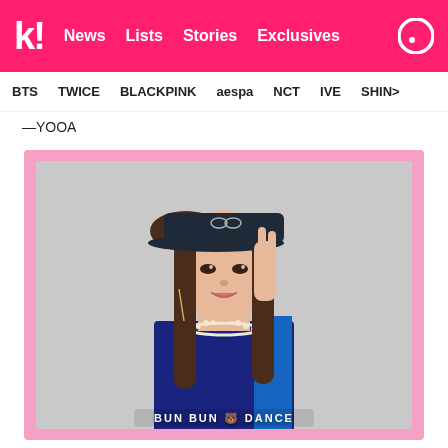k! News  Lists  Stories  Exclusives
BTS  TWICE  BLACKPINK  aespa  NCT  IVE  SHINee
—YOOA
[Figure (photo): YooA from Oh My Girl wearing a dark navy cap, pearl necklace, and black and blue tank top against a grey background. Pink bordered promotional image with 'BUN BUN DANCE' text at bottom.]